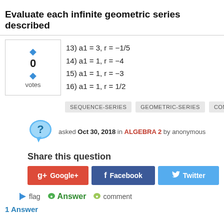Evaluate each infinite geometric series described
13) a1 = 3, r = −1/5
14) a1 = 1, r = −4
15) a1 = 1, r = −3
16) a1 = 1, r = 1/2
SEQUENCE-SERIES   GEOMETRIC-SERIES   COMMON-RATIO
asked Oct 30, 2018 in ALGEBRA 2 by anonymous
Share this question
Google+   Facebook   Twitter
flag   Answer   comment
1 Answer